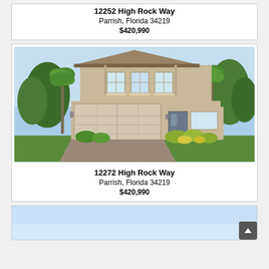12252 High Rock Way
Parrish, Florida 34219
$420,990
[Figure (photo): Two-story beige stucco house with tan shingle roof, two-car garage, palm trees and tropical landscaping, rendering of new construction home at 12272 High Rock Way]
12272 High Rock Way
Parrish, Florida 34219
$420,990
[Figure (photo): Partial view of another listing card, light blue sky background visible]